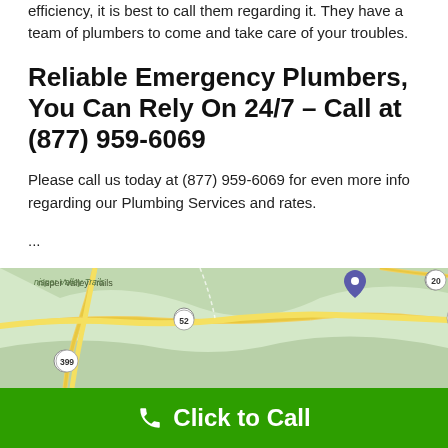efficiency, it is best to call them regarding it. They have a team of plumbers to come and take care of your troubles.
Reliable Emergency Plumbers, You Can Rely On 24/7 – Call at (877) 959-6069
Please call us today at (877) 959-6069 for even more info regarding our Plumbing Services and rates.
...
Where To Find Plumber in Beattyville
[Figure (map): Google Maps view of Beattyville area showing roads including routes 52, 399, 1144, 11, and 20 with yellow highlighted roads on green terrain background.]
Click to Call